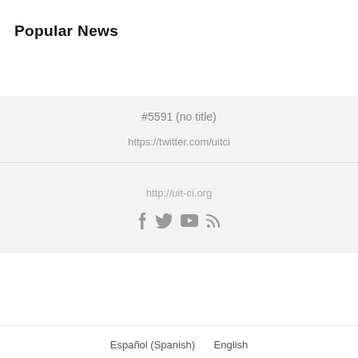Popular News
#5591 (no title)
https://twitter.com/uitci
http://uit-ci.org
[Figure (other): Social media icons: Facebook, Twitter, YouTube, RSS]
Español (Spanish)   English